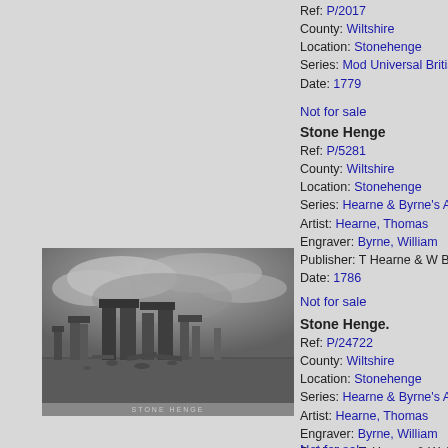Ref: P/2017
County: Wiltshire
Location: Stonehenge
Series: Mod Universal British
Date: 1779
Not for sale
Stone Henge
Ref: P/5281
County: Wiltshire
Location: Stonehenge
Series: Hearne & Byrne's Ant
Artist: Hearne, Thomas
Engraver: Byrne, William
Publisher: T Hearne & W Byrn
Date: 1786
[Figure (photo): Black and white engraving of Stone Henge showing standing stones against a dramatic cloudy sky, with small text 'STONE HENGE' at the bottom]
Not for sale
Stone Henge.
Ref: P/24722
County: Wiltshire
Location: Stonehenge
Series: Hearne & Byrne's Ant
Artist: Hearne, Thomas
Engraver: Byrne, William
Publisher: T. Hearne & W. By
Date: 1786
Not for sale